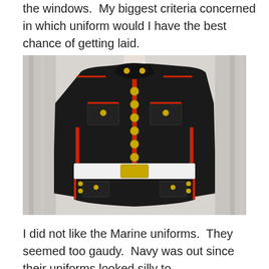the windows.  My biggest criteria concerned in which uniform would I have the best chance of getting laid.
[Figure (photo): A US Marine Corps dress blue uniform jacket displayed on a mannequin torso. The jacket is black with red piping trim, gold buttons down the front, a white belt with gold buckle, and gold insignia/emblems on the collar and shoulders.]
I did not like the Marine uniforms.  They seemed too gaudy.  Navy was out since their uniforms looked silly to